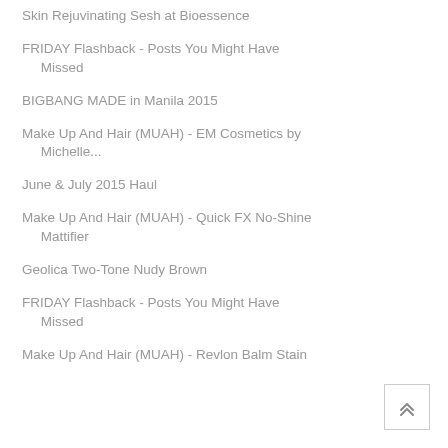Skin Rejuvinating Sesh at Bioessence
FRIDAY Flashback - Posts You Might Have Missed
BIGBANG MADE in Manila 2015
Make Up And Hair (MUAH) - EM Cosmetics by Michelle...
June & July 2015 Haul
Make Up And Hair (MUAH) - Quick FX No-Shine Mattifier
Geolica Two-Tone Nudy Brown
FRIDAY Flashback - Posts You Might Have Missed
Make Up And Hair (MUAH) - Revlon Balm Stain